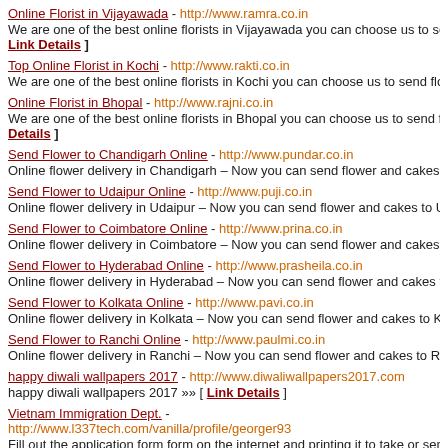Online Florist in Vijayawada - http://www.ramra.co.in
We are one of the best online florists in Vijayawada you can choose us to send flower and cakes to yo [ Link Details ]
Top Online Florist in Kochi - http://www.rakti.co.in
We are one of the best online florists in Kochi you can choose us to send flower and cakes to your fri
Online Florist in Bhopal - http://www.rajni.co.in
We are one of the best online florists in Bhopal you can choose us to send flower and cakes to your fr [ Details ]
Send Flower to Chandigarh Online - http://www.pundar.co.in
Online flower delivery in Chandigarh – Now you can send flower and cakes to Chandigarh Online th
Send Flower to Udaipur Online - http://www.puji.co.in
Online flower delivery in Udaipur – Now you can send flower and cakes to Udaipur Online through u
Send Flower to Coimbatore Online - http://www.prina.co.in
Online flower delivery in Coimbatore – Now you can send flower and cakes to Coimbatore Online th
Send Flower to Hyderabad Online - http://www.prasheila.co.in
Online flower delivery in Hyderabad – Now you can send flower and cakes to Hyderabad Online thr
Send Flower to Kolkata Online - http://www.pavi.co.in
Online flower delivery in Kolkata – Now you can send flower and cakes to Kolkata Online through u
Send Flower to Ranchi Online - http://www.paulmi.co.in
Online flower delivery in Ranchi – Now you can send flower and cakes to Ranchi Online through us
happy diwali wallpapers 2017 - http://www.diwaliwallpapers2017.com
happy diwali wallpapers 2017 »» [ Link Details ]
Vietnam Immigration Dept. - http://www.l337tech.com/vanilla/profile/georger93
Fill out the application form form on the internet and printing it to take or send on the embassy. If yo keep Vietnam during your stay), you are able to get 1 month solitary traveler charge. A Vietnam touri the country for the purpose of tourism, and for a private see. »» [ Link Details ]